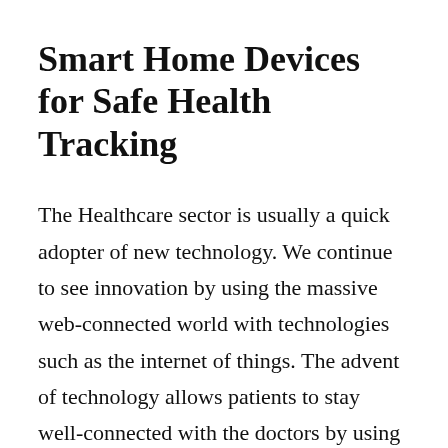Smart Home Devices for Safe Health Tracking
The Healthcare sector is usually a quick adopter of new technology. We continue to see innovation by using the massive web-connected world with technologies such as the internet of things. The advent of technology allows patients to stay well-connected with the doctors by using virtual visits and remote monitoring. Moreover, it is helpful to the patients and hospital staff alike. These smart healthcare devices can facilitate care for chronic disorders and can automate